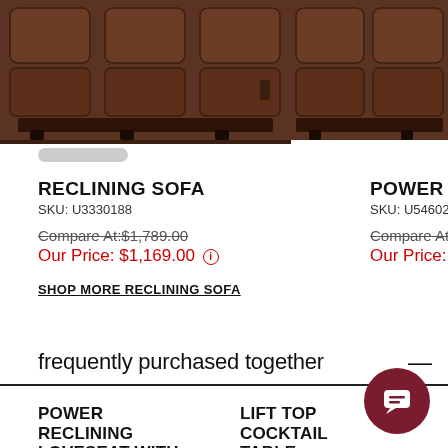[Figure (photo): Brown leather reclining sofa viewed from front/top angle, cropped at top]
[Figure (photo): Brown leather power reclining sofa/loveseat, partially cropped on right side]
RECLINING SOFA
SKU: U3330188
Compare At:$1,789.00
Our Price: $1,169.00
SHOP MORE RECLINING SOFA
POWER RECLINING
SKU: U5460215
Compare At:$2,759
Our Price: $1,789.00
frequently purchased together
POWER RECLINING LOVESEAT WITH
LIFT TOP COCKTAIL TABLE